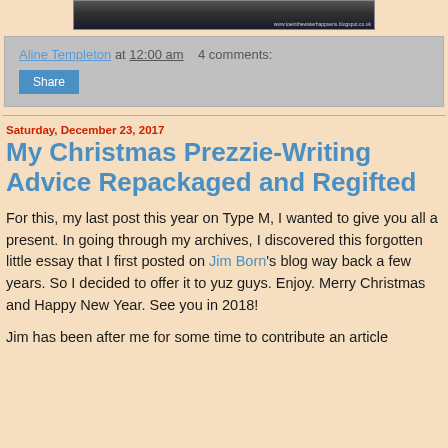[Figure (photo): Partial dark photograph with website URL watermark at bottom right: www.toeinthewaterhappsens.blogspot.co.uk]
Aline Templeton at 12:00 am    4 comments:
Share
Saturday, December 23, 2017
My Christmas Prezzie-Writing Advice Repackaged and Regifted
For this, my last post this year on Type M, I wanted to give you all a present. In going through my archives, I discovered this forgotten little essay that I first posted on Jim Born's blog way back a few years. So I decided to offer it to yuz guys. Enjoy. Merry Christmas and Happy New Year. See you in 2018!
Jim has been after me for some time to contribute an article